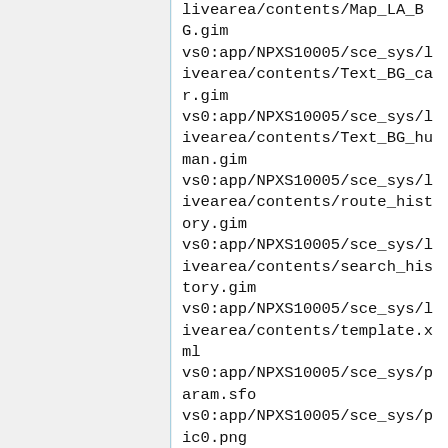livearea/contents/Map_LA_BG.gim
vs0:app/NPXS10005/sce_sys/livearea/contents/Text_BG_car.gim
vs0:app/NPXS10005/sce_sys/livearea/contents/Text_BG_human.gim
vs0:app/NPXS10005/sce_sys/livearea/contents/route_history.gim
vs0:app/NPXS10005/sce_sys/livearea/contents/search_history.gim
vs0:app/NPXS10005/sce_sys/livearea/contents/template.xml
vs0:app/NPXS10005/sce_sys/param.sfo
vs0:app/NPXS10005/sce_sys/pic0.png
vs0:app/NPXS10006/eboot.bin
vs0:app/NPXS10006/friend_plugin.rco